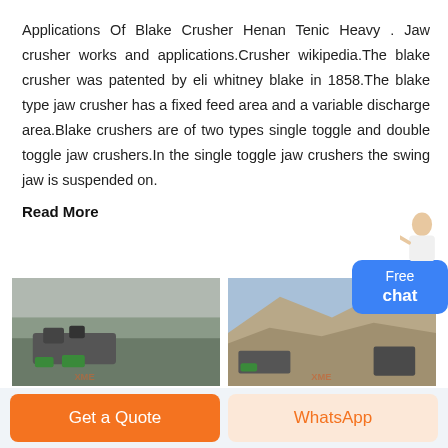Applications Of Blake Crusher Henan Tenic Heavy . Jaw crusher works and applications.Crusher wikipedia.The blake crusher was patented by eli whitney blake in 1858.The blake type jaw crusher has a fixed feed area and a variable discharge area.Blake crushers are of two types single toggle and double toggle jaw crushers.In the single toggle jaw crushers the swing jaw is suspended on.
Read More
[Figure (photo): Industrial crusher machinery in an outdoor quarry or mining site, with green machinery visible and a watermark/logo.]
[Figure (photo): Open pit quarry or mining site with rocky terrain and a hillside, with green machinery and XME logo watermark.]
Get a Quote
WhatsApp